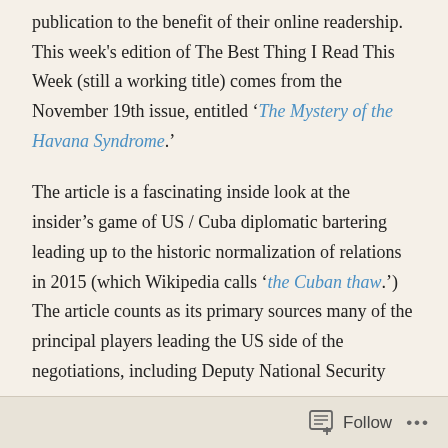publication to the benefit of their online readership. This week's edition of The Best Thing I Read This Week (still a working title) comes from the November 19th issue, entitled 'The Mystery of the Havana Syndrome.'

The article is a fascinating inside look at the insider's game of US / Cuba diplomatic bartering leading up to the historic normalization of relations in 2015 (which Wikipedia calls 'the Cuban thaw.') The article counts as its primary sources many of the principal players leading the US side of the negotiations, including Deputy National Security
Follow ···